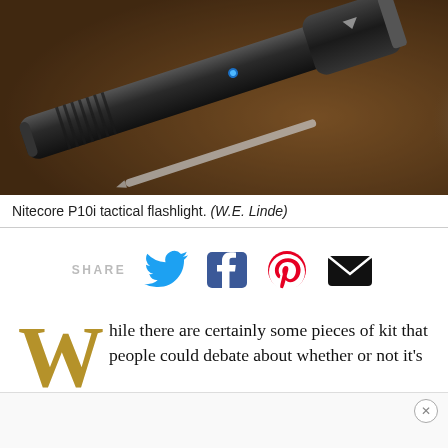[Figure (photo): Nitecore P10i tactical flashlight on a brown surface, glowing blue indicator light visible, bright white light emitting from the front, with a cylindrical black aluminum body with textured grip. A pen or stylus is partially visible below.]
Nitecore P10i tactical flashlight. (W.E. Linde)
[Figure (infographic): Social share bar with icons for Twitter (blue bird), Facebook (blue square with 'f'), Pinterest (red circle with 'P'), and Email (black envelope), preceded by the text SHARE.]
While there are certainly some pieces of kit that people could debate about whether or not it's